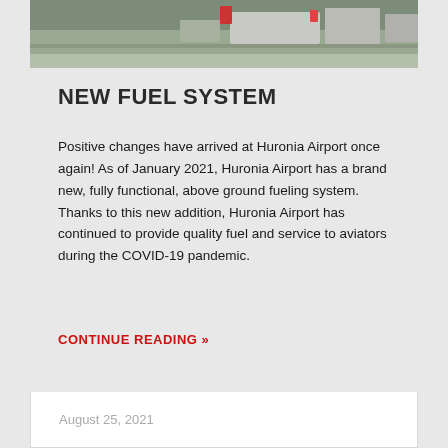[Figure (photo): Outdoor photo of above-ground fueling system equipment at Huronia Airport, showing industrial tanks and equipment on a gravel/grass surface]
NEW FUEL SYSTEM
Positive changes have arrived at Huronia Airport once again! As of January 2021, Huronia Airport has a brand new, fully functional, above ground fueling system. Thanks to this new addition, Huronia Airport has continued to provide quality fuel and service to aviators during the COVID-19 pandemic.
CONTINUE READING »
August 25, 2021